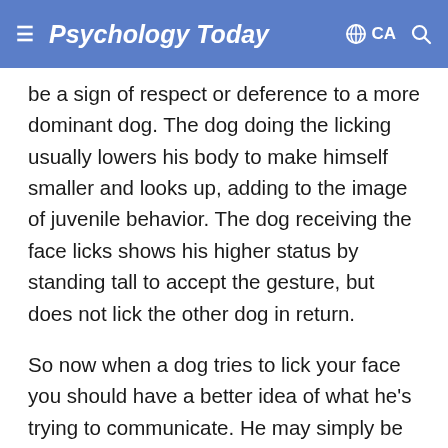Psychology Today  CA
be a sign of respect or deference to a more dominant dog. The dog doing the licking usually lowers his body to make himself smaller and looks up, adding to the image of juvenile behavior. The dog receiving the face licks shows his higher status by standing tall to accept the gesture, but does not lick the other dog in return.
So now when a dog tries to lick your face you should have a better idea of what he's trying to communicate. He may simply be hungry and asking for a snack. Obviously you won't regurgitate some food at that signal, but you might respond affectionately and perhaps give him a